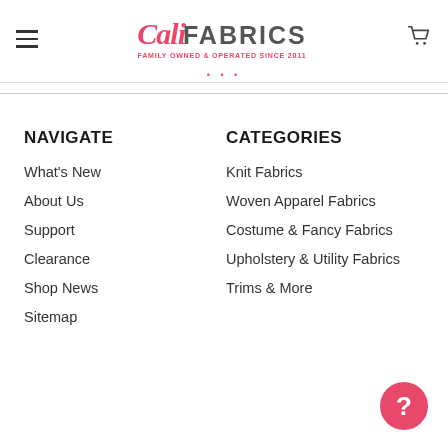Cali Fabrics - Family Owned & Operated Since 2011
NAVIGATE
What's New
About Us
Support
Clearance
Shop News
Sitemap
CATEGORIES
Knit Fabrics
Woven Apparel Fabrics
Costume & Fancy Fabrics
Upholstery & Utility Fabrics
Trims & More